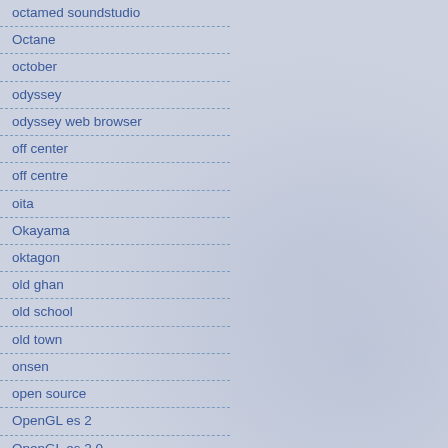octamed soundstudio
Octane
october
odyssey
odyssey web browser
off center
off centre
oita
Okayama
oktagon
old ghan
old school
old town
onsen
open source
OpenGL es 2
OpenGL es 2.0
OS
OS recovery